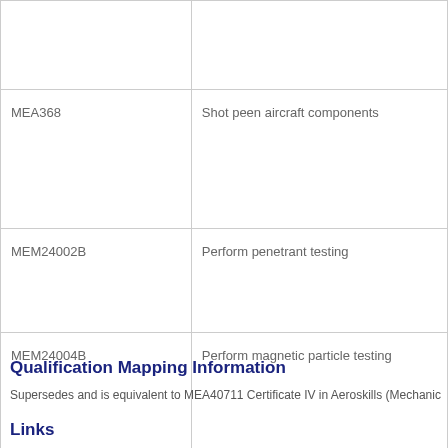| Code | Description |
| --- | --- |
|  |  |
| MEA368 | Shot peen aircraft components |
| MEM24002B | Perform penetrant testing |
| MEM24004B | Perform magnetic particle testing |
| MEM24012C | Apply metallurgy principles |
Qualification Mapping Information
Supersedes and is equivalent to MEA40711 Certificate IV in Aeroskills (Mechanic
Links